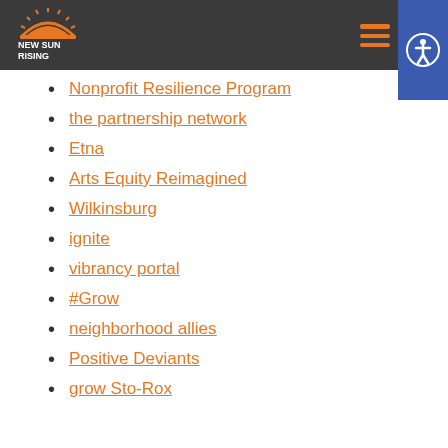New Sun Rising
Nonprofit Resilience Program
the partnership network
Etna
Arts Equity Reimagined
Wilkinsburg
ignite
vibrancy portal
#Grow
neighborhood allies
Positive Deviants
grow Sto-Rox